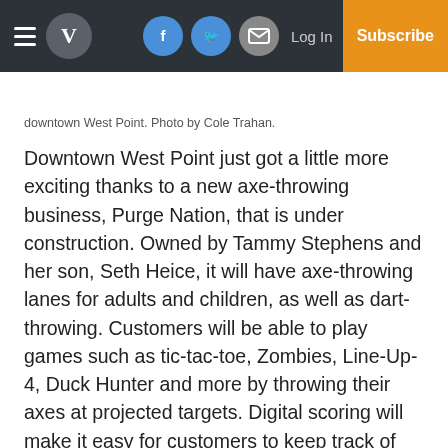V [logo] | Facebook | Twitter | Email | Log In | Subscribe
downtown West Point. Photo by Cole Trahan.
Downtown West Point just got a little more exciting thanks to a new axe-throwing business, Purge Nation, that is under construction. Owned by Tammy Stephens and her son, Seth Heice, it will have axe-throwing lanes for adults and children, as well as dart-throwing. Customers will be able to play games such as tic-tac-toe, Zombies, Line-Up-4, Duck Hunter and more by throwing their axes at projected targets. Digital scoring will make it easy for customers to keep track of their successes.
Stephens said Purge Nation will open around March